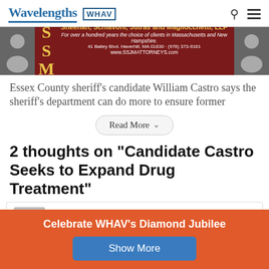Wavelengths | WHAV
[Figure (photo): Advertisement banner for Sheehan, Schiavoni, Jutras and Magliocchetti, LLP law firm with two photos of attorneys and firm contact information]
Essex County sheriff’s candidate William Castro says the sheriff’s department can do more to ensure former
Read More
2 thoughts on “Candidate Castro Seeks to Expand Drug Treatment”
Duncan Burns on April 5, 2016 at 12:13 pm said:
Celebrate WHAV’s Diamond Jubilee
Show More